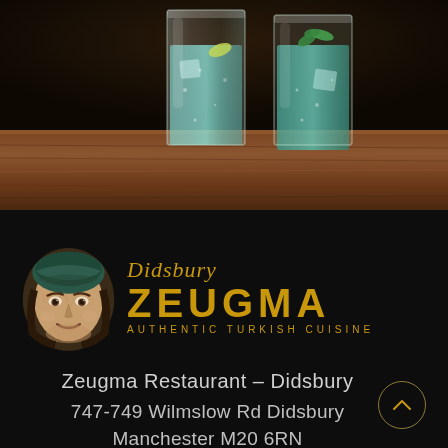[Figure (photo): Photograph of two tall glasses with green/teal drinks (gin and tonic or mojito style) with ice and mint/lime, sitting on a dark wooden bar surface. Dark background behind the glasses.]
[Figure (logo): Didsbury Zeugma restaurant logo featuring an ancient Roman/Byzantine mosaic face portrait on the left and gold text reading 'Didsbury ZEUGMA AUTHENTIC TURKISH CUISINE' on the right.]
Zeugma Restaurant – Didsbury
747-749 Wilmslow Rd Didsbury Manchester M20 6RN